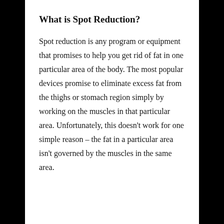What is Spot Reduction?
Spot reduction is any program or equipment that promises to help you get rid of fat in one particular area of the body. The most popular devices promise to eliminate excess fat from the thighs or stomach region simply by working on the muscles in that particular area. Unfortunately, this doesn't work for one simple reason – the fat in a particular area isn't governed by the muscles in the same area.